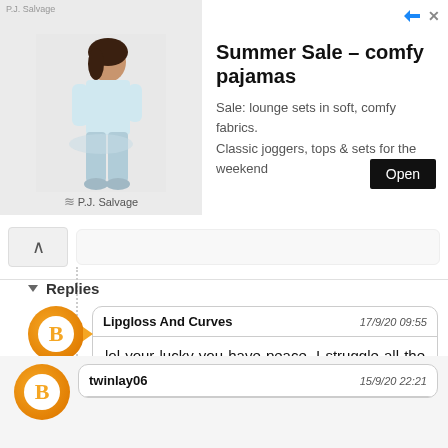[Figure (illustration): Advertisement banner for P.J. Salvage pajamas showing a woman in pajamas. Title: Summer Sale – comfy pajamas. Text: Sale: lounge sets in soft, comfy fabrics. Classic joggers, tops & sets for the weekend. Open button.]
Replies
Lipgloss And Curves 17/9/20 09:55 lol your lucky you have peace, I struggle all the time with a 2yr old, hardly see the 15yr old lol
twinlay06 15/9/20 22:21